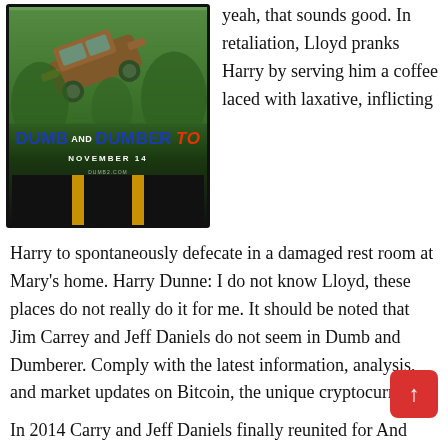[Figure (photo): Movie poster for 'Dumb and Dumber To' showing a car flying in the air above a road, with text 'DUMB AND DUMBER TO' and 'NOVEMBER 14']
yeah, that sounds good. In retaliation, Lloyd pranks Harry by serving him a coffee laced with laxative, inflicting Harry to spontaneously defecate in a damaged rest room at Mary's home. Harry Dunne: I do not know Lloyd, these places do not really do it for me. It should be noted that Jim Carrey and Jeff Daniels do not seem in Dumb and Dumberer. Comply with the latest information, analysis, and market updates on Bitcoin, the unique cryptocurrency.
In 2014 Carry and Jeff Daniels finally reunited for And Dumber To, which found the duo on another wacky journey. The story intentionally begins the day a...